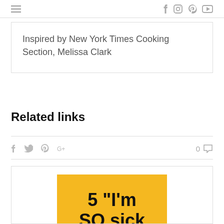≡  f  ig  P  yt
Inspired by New York Times Cooking Section, Melissa Clark
Related links
f  tw  P  G+  0 comments
[Figure (other): Promotional card with yellow background showing text '5 "I'm SO sick']